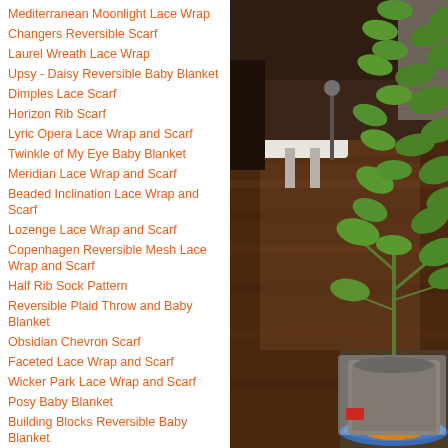Mediterranean Moonlight Lace Wrap
Changers Reversible Scarf
Laurel Wreath Lace Wrap
Upsy - Daisy Reversible Baby Blanket
Dimples Lace Scarf
Horizon Rib Scarf
Lyric Opera Lace Wrap and Scarf
Twinkle of My Eye Baby Blanket
Meridian Lace Wrap and Scarf
Beaded Inclination Lace Wrap and Scarf
Lozenge Lace Wrap and Scarf
Copenhagen Reversible Mesh Lace Wrap and Scarf
Half Rib Sock Pattern
Reversible Plaid Throw and Baby Blanket
Obsidian Chevron Scarf
Faceted Lace Wrap and Scarf
Wicker Park Lace Wrap and Scarf
Posy Baby Blanket
Building Blocks Reversible Baby Blanket
Tilde Lace Wrap and Scarf
Traliccio Lace Scarf and Wrap
[Figure (photo): Indoor room photo showing dark hardwood floor, a white fabric-covered chair, and a potted green plant (citrus tree) in the foreground right, with a blue and orange saucer underneath.]